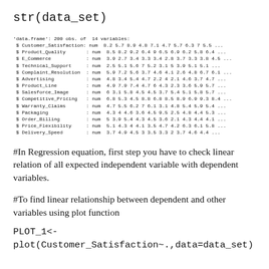str(data_set)
'data.frame': 200 obs. of  14 variables:
 $ Customer_Satisfaction: num  8.2 5.7 8.9 4.8 7.1 4.7 5.7 6.3 7 5.5 ...
 $ Product_Quality       : num  8.5 8.2 9.2 6.4 9 6.5 6.9 6.2 5.8 6.4 ...
 $ E_Commerce            : num  3.9 2.7 3.4 3.3 3.4 2.8 3.7 3.3 3.8 4.5 ...
 $ Technical_Support     : num  2.5 5.1 5.6 7 5.2 3.1 5 3.9 5.1 5.1 ...
 $ Complaint_Resolution  : num  5.9 7.2 5.6 3.7 4.6 4.1 2.6 4.8 6.7 6.1 ...
 $ Advertising           : num  4.8 3.4 5.4 4.7 2.2 4 2.1 4.6 3.7 4.7 ...
 $ Product_Line          : num  4.9 7.9 7.4 4.7 6 4.3 2.3 3.6 5.9 5.7 ...
 $ Salesforce_Image      : num  6 3.1 5.8 4.5 4.5 3.7 5.4 5.1 5.8 5.7 ...
 $ Competitive_Pricing   : num  6.8 5.3 4.5 8.8 6.8 8.5 8.9 6.9 9.3 8.4 ...
 $ Warranty_Claims       : num  4.7 5.5 6.2 7 6.1 3.1 4.8 5.4 5.9 5.4 ...
 $ Packaging             : num  4.3 4 4.6 3.6 4.5 9.5 2.5 4.8 4.4 5.3 ...
 $ Order_Billing         : num  5 3.9 5.4 4.3 4.5 3.6 2.1 4.3 4.4 4.1 ...
 $ Price_Flexibility     : num  5.1 4.3 4 4.1 3.5 4.7 4.2 6.3 6.1 5.8 ...
 $ Delivery_Speed        : num  3.7 4.9 4.5 3 3.5 3.3 2 3.7 4.6 4.4 ...
#In Regression equation, first step you have to check linear relation of all expected independent variable with dependent variables.
#To find linear relationship between dependent and other variables using plot function
PLOT_1<-
plot(Customer_Satisfaction~.,data=data_set)